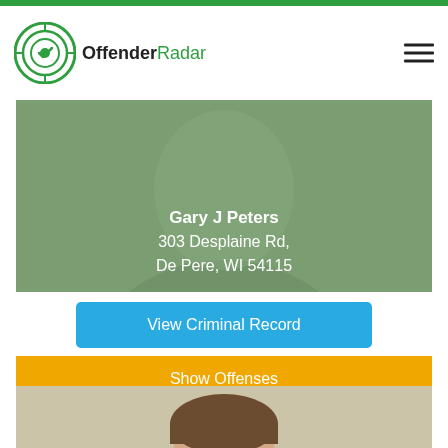OffenderRadar
[Figure (photo): Mugshot photo of Gary J Peters wearing green/grey shirt, cropped to show shoulders and lower face. Name and address overlaid in white text: Gary J Peters, 303 Desplaine Rd, De Pere, WI 54115]
View Criminal Record
Show Offenses
[Figure (photo): Mugshot photo of a white male with short brown hair and a goatee/beard wearing a dark jacket, beige background]